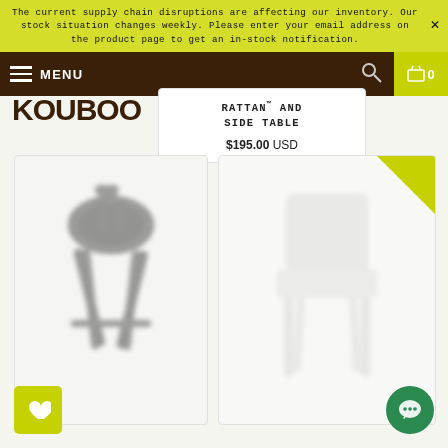The current supply chain disruptions are affecting our inventory. Our stock situation changes weekly. Please enter your email address on the product page to get an in-stock notification.
MENU | Search | Cart 0
[Figure (logo): KOUBOO logo in dark brown bold text]
RATTAN ™ AND SIDE TABLE
$195.00 USD
[Figure (photo): Blurred dark gray rattan bar stool product photo]
[Figure (photo): Blurred white/light rattan chair product photo with gold corner badge]